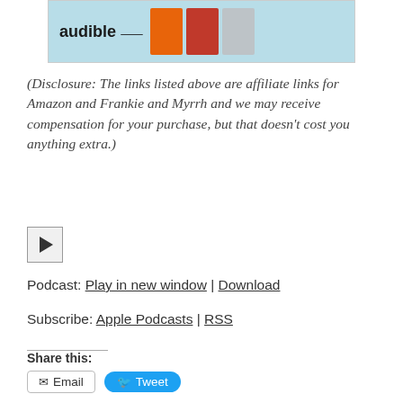[Figure (screenshot): Audible banner advertisement showing the Audible logo and book covers]
(Disclosure: The links listed above are affiliate links for Amazon and Frankie and Myrrh and we may receive compensation for your purchase, but that doesn't cost you anything extra.)
[Figure (other): Play button for podcast audio player]
Podcast: Play in new window | Download
Subscribe: Apple Podcasts | RSS
Share this:
Email  Tweet